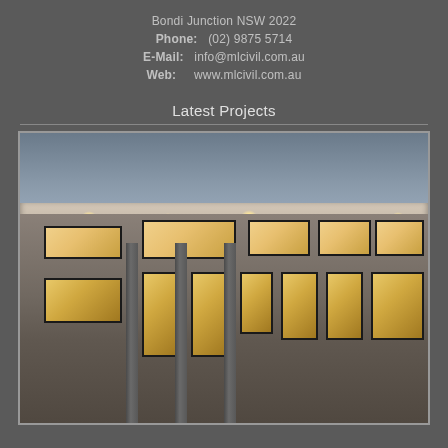Bondi Junction NSW 2022
Phone:   (02) 9875 5714
E-Mail:   info@mlcivil.com.au
Web:      www.mlcivil.com.au
Latest Projects
[Figure (photo): Exterior photograph of a modern multi-storey building at dusk, showing large windows with warm interior lighting, concrete and panel facade, and recessed ceiling lights under an overhang.]